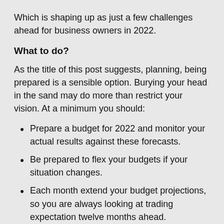Which is shaping up as just a few challenges ahead for business owners in 2022.
What to do?
As the title of this post suggests, planning, being prepared is a sensible option. Burying your head in the sand may do more than restrict your vision. At a minimum you should:
Prepare a budget for 2022 and monitor your actual results against these forecasts.
Be prepared to flex your budgets if your situation changes.
Each month extend your budget projections, so you are always looking at trading expectation twelve months ahead.
Take remedial action sooner rather than later if the numbers highlight possible challenges. For example, if your fixed costs are too will need for it to start both